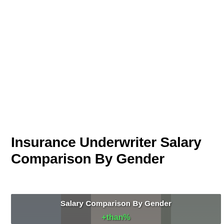Insurance Underwriter Salary Comparison By Gender
[Figure (photo): Photo of a man and woman (presumably insurance professionals) with overlaid text 'Salary Comparison By Gender' and green percentage text partially visible at the bottom]